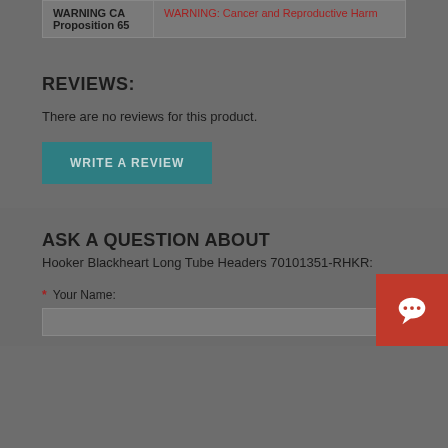|  |  |
| --- | --- |
| WARNING CA Proposition 65 | WARNING: Cancer and Reproductive Harm |
REVIEWS:
There are no reviews for this product.
WRITE A REVIEW
ASK A QUESTION ABOUT Hooker Blackheart Long Tube Headers 70101351-RHKR:
* Your Name: